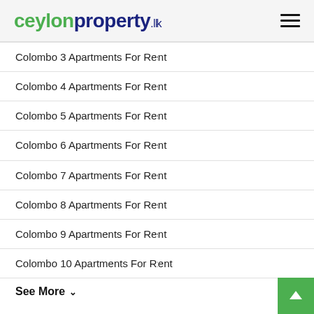ceylonproperty.lk
Colombo 3 Apartments For Rent
Colombo 4 Apartments For Rent
Colombo 5 Apartments For Rent
Colombo 6 Apartments For Rent
Colombo 7 Apartments For Rent
Colombo 8 Apartments For Rent
Colombo 9 Apartments For Rent
Colombo 10 Apartments For Rent
See More ▾
Buy – House Popular Searches
Colombo 2 Houses For Sale
Colombo 3 Houses For Sale
Colombo 4 Houses For Sale
Colombo 5 Houses For Sale
Colombo 6 Houses For Sale